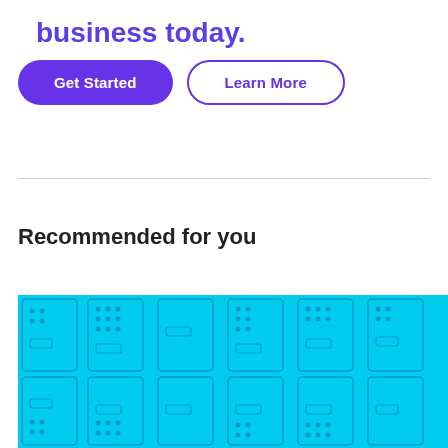business today.
Get Started
Learn More
Recommended for you
[Figure (illustration): Cyan/blue repeating pattern with stylized shapes resembling phone/device icons arranged in a grid pattern]